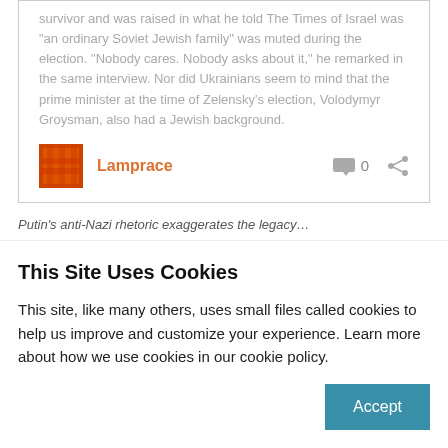survivor and was raised in what he told The Times of Israel was “an ordinary Soviet Jewish family” was muted during the election. “Nobody cares. Nobody asks about it,” he remarked in the same interview. Nor did Ukrainians seem to mind that the prime minister at the time of Zelensky's election, Volodymyr Groysman, also had a Jewish background.
Lamprace   0
Putin’s anti-Nazi rhetoric exaggerates the legacy…
Share this:
This Site Uses Cookies
This site, like many others, uses small files called cookies to help us improve and customize your experience. Learn more about how we use cookies in our cookie policy.